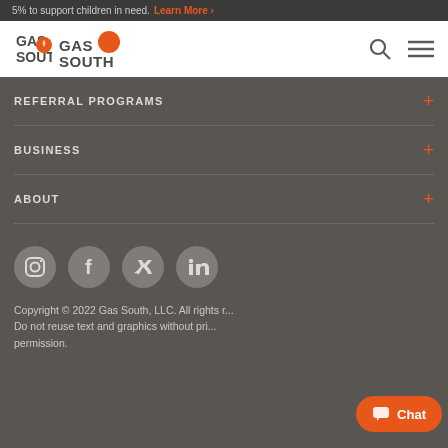5% to support children in need. Learn More ›
[Figure (logo): Gas South logo with orange flame icon and bold dark text reading GAS SOUTH]
REFERRAL PROGRAMS +
BUSINESS +
ABOUT +
[Figure (infographic): Social media icons: Instagram, Facebook, Twitter, LinkedIn in gray circles]
Copyright © 2022 Gas South, LLC. All rights r... Do not reuse text and graphics without pri... permission.